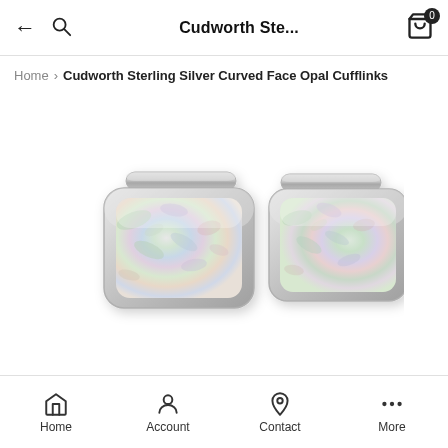Cudworth Ste...
Home > Cudworth Sterling Silver Curved Face Opal Cufflinks
[Figure (photo): Two sterling silver cufflinks with curved rectangular faces set with iridescent opal stones showing green, pink and blue color play, with silver bar toggles on top.]
Home  Account  Contact  More